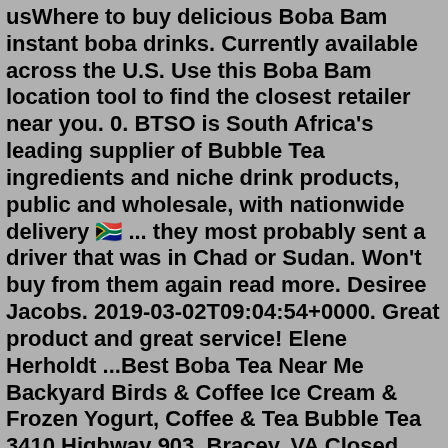usWhere to buy delicious Boba Bam instant boba drinks. Currently available across the U.S. Use this Boba Bam location tool to find the closest retailer near you. 0. BTSO is South Africa's leading supplier of Bubble Tea ingredients and niche drink products, public and wholesale, with nationwide delivery 🇿🇦 ... they most probably sent a driver that was in Chad or Sudan. Won't buy from them again read more. Desiree Jacobs. 2019-03-02T09:04:54+0000. Great product and great service! Elene Herholdt ...Best Boba Tea Near Me Backyard Birds & Coffee Ice Cream & Frozen Yogurt, Coffee & Tea Bubble Tea 3410 Highway 903, Bracey, VA Closed Moge Tee - Durham Closed Quickly Tea House 2604A Hillsborough Rd, Durham, NC Closed Liturgy Beverage Company , , Coffee Roasteries 530 Foster St, Durham, NC Closed Stir Fry Japanese Juice Bars & SmoothiesBubble tea is an increasingly popular Taiwanese drink with a tea base and a variety of toppings, like boba balls and pudding. Whether you operate a coffee house, tea bar, or Asian restaurant